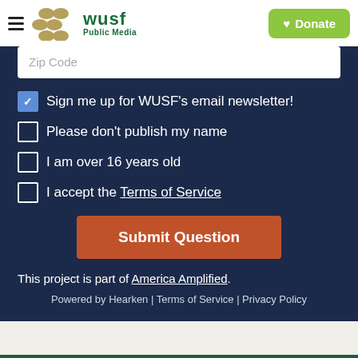[Figure (logo): WUSF Public Media logo with golden dots and green WUSF text]
Sign me up for WUSF's email newsletter! [checked]
Please don't publish my name [unchecked]
I am over 16 years old [unchecked]
I accept the Terms of Service [unchecked]
Submit Question
This project is part of America Amplified.
Powered by Hearken | Terms of Service | Privacy Policy
WUSF Marketplace